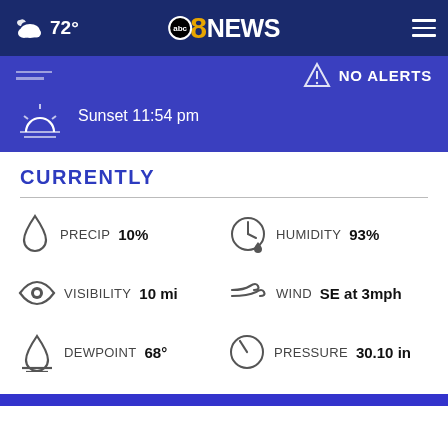72° abc8NEWS
[Figure (screenshot): Blue weather banner showing NO ALERTS triangle icon and Sunset 11:54 pm with sunset icon]
CURRENTLY
PRECIP 10%
HUMIDITY 93%
VISIBILITY 10 mi
WIND SE at 3mph
DEWPOINT 68°
PRESSURE 30.10 in